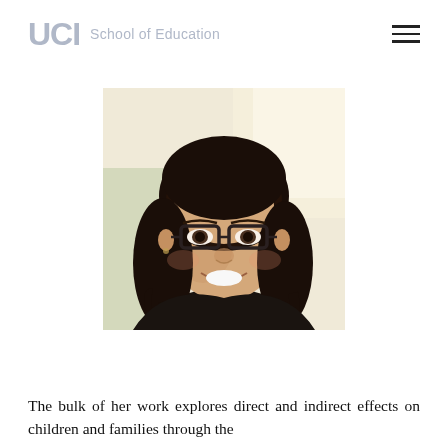UCI School of Education
[Figure (photo): Headshot photo of a young woman with long dark wavy hair and glasses, smiling, with a bright background]
The bulk of her work explores direct and indirect effects on children and families through the